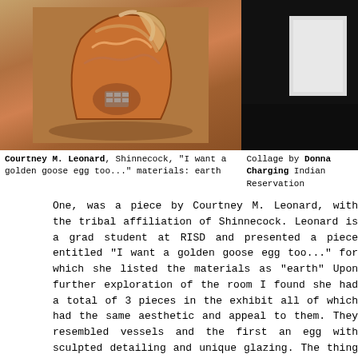[Figure (photo): Photograph of a ceramic sculpture by Courtney M. Leonard, showing a vessel with orange and multicolored glazing and sculpted detailing, displayed on a dark surface.]
[Figure (photo): Partial view of a collage by Donna Charging, shown against a dark background with a light-colored rectangular form visible.]
Courtney M. Leonard, Shinnecock, "I want a golden goose egg too..." materials: earth
Collage by Donna Charging Indian Reservation
One, was a piece by Courtney M. Leonard, with the tribal affiliation of Shinnecock. Leonard is a grad student at RISD and presented a piece entitled "I want a golden goose egg too..." for which she listed the materials as "earth" Upon further exploration of the room I found she had a total of 3 pieces in the exhibit all of which had the same aesthetic and appeal to them. They resembled vessels and the first an egg with sculpted detailing and unique glazing. The thing that struck me most about them was the content of the imagery included on them. Stamps of strawberry shortcake and drawings of buildings adorn these traditional shapes as if to suggest the Americanization of her lifestyle and ideals. Almost caught between the two worlds of the traditional and modern. "Would this definition consider me as one (a traditional potter) if I admitted I began with play dough?" Leonard states in her explanation of